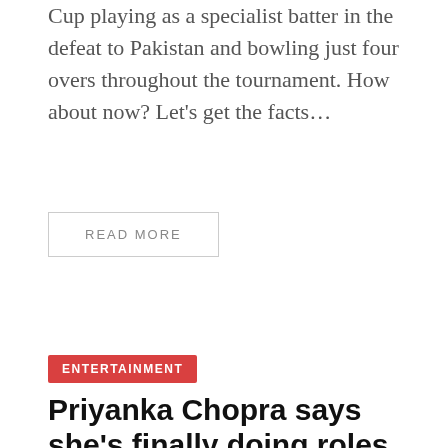Cup playing as a specialist batter in the defeat to Pakistan and bowling just four overs throughout the tournament. How about now? Let's get the facts…
READ MORE
ENTERTAINMENT
Priyanka Chopra says she's finally doing roles she wants to after 10